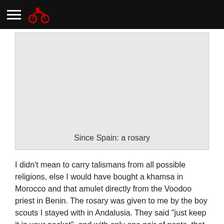[Figure (photo): Light grey placeholder image box with caption 'Since Spain: a rosary']
Since Spain: a rosary
I didn't mean to carry talismans from all possible religions, else I would have bought a khamsa in Morocco and that amulet directly from the Voodoo priest in Benin. The rosary was given to me by the boy scouts I stayed with in Andalusia. They said “just keep it in your pocket”, and with only one pair of pants, that rosary made its way until South Africa!